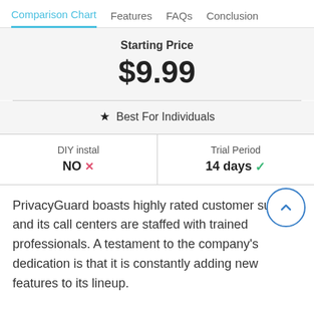Comparison Chart | Features | FAQs | Conclusion
Starting Price
$9.99
★ Best For Individuals
| DIY instal | Trial Period |
| --- | --- |
| NO ✗ | 14 days ✓ |
PrivacyGuard boasts highly rated customer supp and its call centers are staffed with trained professionals. A testament to the company's dedication is that it is constantly adding new features to its lineup.